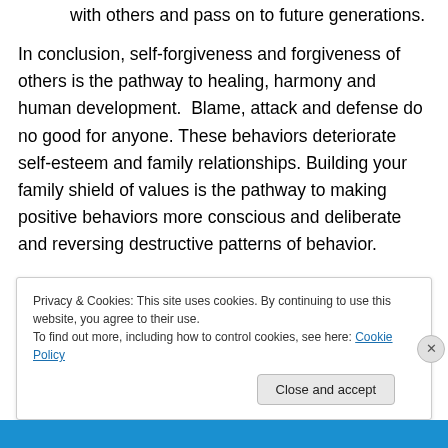with others and pass on to future generations.
In conclusion, self-forgiveness and forgiveness of others is the pathway to healing, harmony and human development.  Blame, attack and defense do no good for anyone. These behaviors deteriorate self-esteem and family relationships. Building your family shield of values is the pathway to making positive behaviors more conscious and deliberate and reversing destructive patterns of behavior.
Privacy & Cookies: This site uses cookies. By continuing to use this website, you agree to their use.
To find out more, including how to control cookies, see here: Cookie Policy